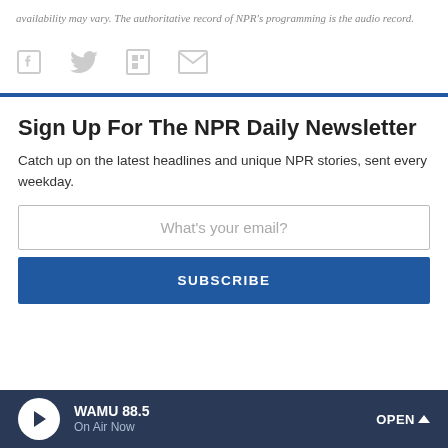availability may vary. The authoritative record of NPR's programming is the audio record.
[Figure (infographic): Social sharing icons: Facebook, Twitter, Flipboard, Email — displayed in gray]
Sign Up For The NPR Daily Newsletter
Catch up on the latest headlines and unique NPR stories, sent every weekday.
What's your email?
SUBSCRIBE
WAMU 88.5 On Air Now OPEN